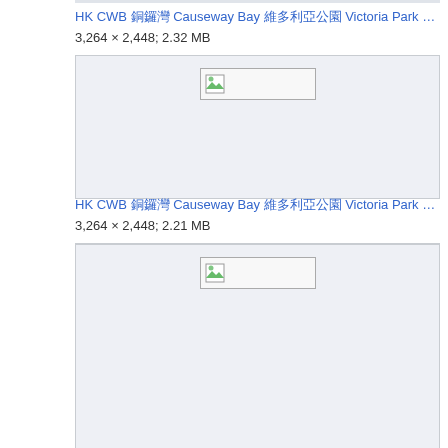HK CWB 銅鑼灣 Causeway Bay 維多利亞公園 Victoria Park 花墟 市集 HKB…
3,264 × 2,448; 2.32 MB
[Figure (photo): Broken image placeholder in a light gray box]
HK CWB 銅鑼灣 Causeway Bay 維多利亞公園 Victoria Park 花墟 市集 HKB…
3,264 × 2,448; 2.21 MB
[Figure (photo): Broken image placeholder in a light gray box]